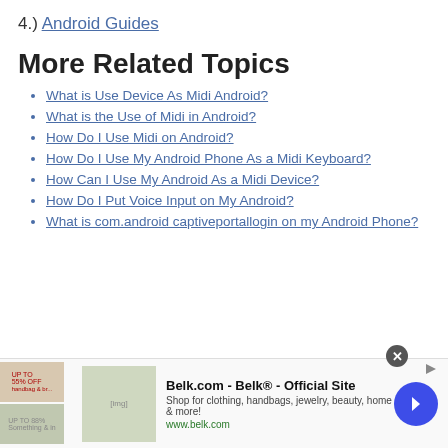4.) Android Guides
More Related Topics
What is Use Device As Midi Android?
What is the Use of Midi in Android?
How Do I Use Midi on Android?
How Do I Use My Android Phone As a Midi Keyboard?
How Can I Use My Android As a Midi Device?
How Do I Put Voice Input on My Android?
What is com.android captiveportallogin on my Android Phone?
[Figure (other): Advertisement banner for Belk.com - Official Site. Shows product images, text: 'Belk.com - Belk® - Official Site', 'Shop for clothing, handbags, jewelry, beauty, home & more!', 'www.belk.com']